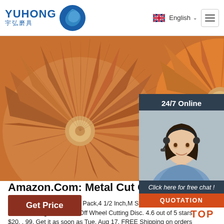YUHONG 宇弘磨具 | English
[Figure (photo): Close-up of orange abrasive flap discs and a Walter-branded metal cut-off wheel]
[Figure (photo): 24/7 Online chat support agent — woman with headset smiling, with 'Click here for free chat!' and QUOTATION button]
Amazon.Com: Metal Cut Off Disc
Truswe Cut Off Wheels 52 Pack,4 1/2 Inch,M Stainless Steel Cutting Wheel for Angle Grin Cut-Off Wheel Cutting Disc. 4.6 out of 5 stars $20. . 99. Get it as soon as Tue, Aug 17. FREE Shipping on orders over $25 shipped by Amazon.
Get Price